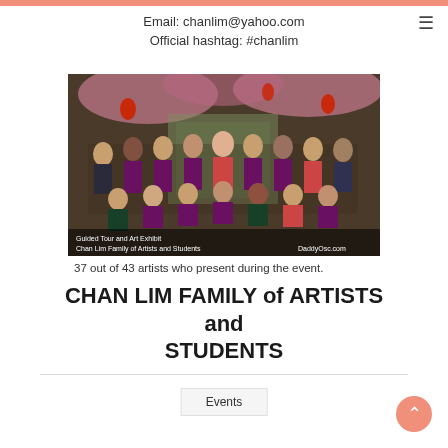Email: chanlim@yahoo.com
Official hashtag: #chanlim
[Figure (photo): Group photo of Chan Lim Family of Artists and Students at a Guided Tour and Art Exhibit, with decorative cherry blossom trees and red lanterns in background. Text overlay reads: Guided Tour and Art Exhibit, Chan Lim Family of Artists and Students, DaddyOsc.com]
37 out of 43 artists who present during the event.
CHAN LIM FAMILY of ARTISTS and STUDENTS
Events